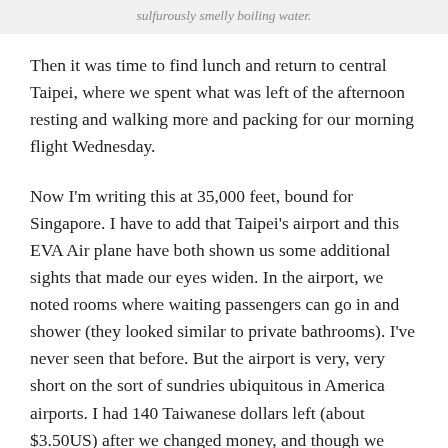sulfurously smelly boiling water.
Then it was time to find lunch and return to central Taipei, where we spent what was left of the afternoon resting and walking more and packing for our morning flight Wednesday.
Now I'm writing this at 35,000 feet, bound for Singapore. I have to add that Taipei's airport and this EVA Air plane have both shown us some additional sights that made our eyes widen. In the airport, we noted rooms where waiting passengers can go in and shower (they looked similar to private bathrooms). I've never seen that before. But the airport is very, very short on the sort of sundries ubiquitous in America airports. I had 140 Taiwanese dollars left (about $3.50US) after we changed money, and though we searched and searched, we almost couldn't